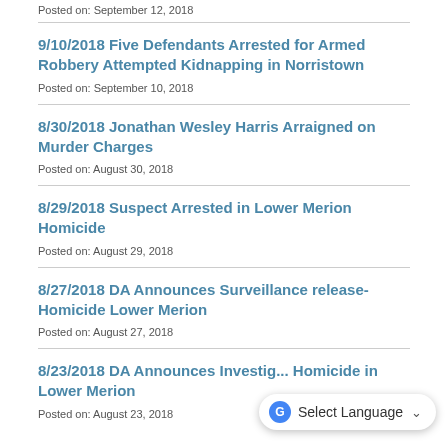Posted on: September 12, 2018
9/10/2018 Five Defendants Arrested for Armed Robbery Attempted Kidnapping in Norristown
Posted on: September 10, 2018
8/30/2018 Jonathan Wesley Harris Arraigned on Murder Charges
Posted on: August 30, 2018
8/29/2018 Suspect Arrested in Lower Merion Homicide
Posted on: August 29, 2018
8/27/2018 DA Announces Surveillance release- Homicide Lower Merion
Posted on: August 27, 2018
8/23/2018 DA Announces Investig... Homicide in Lower Merion
Posted on: August 23, 2018